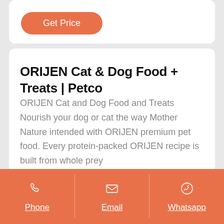Get Price
ORIJEN Cat & Dog Food + Treats | Petco
ORIJEN Cat and Dog Food and Treats Nourish your dog or cat the way Mother Nature intended with ORIJEN premium pet food. Every protein-packed ORIJEN recipe is built from whole prey
Phone  Email  Whatsapp